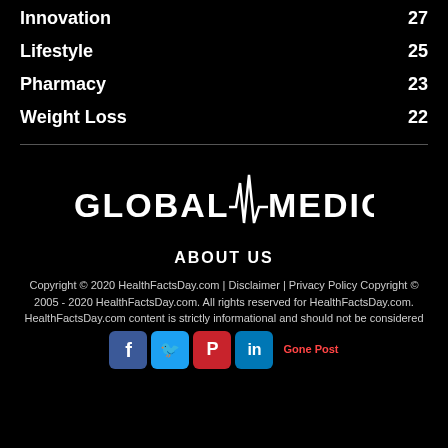Innovation  27
Lifestyle  25
Pharmacy  23
Weight Loss  22
[Figure (logo): Global Medicine logo with heartbeat/pulse waveform between the two words]
ABOUT US
Copyright © 2020 HealthFactsDay.com | Disclaimer | Privacy Policy Copyright © 2005 - 2020 HealthFactsDay.com. All rights reserved for HealthFactsDay.com. HealthFactsDay.com content is strictly informational and should not be considered